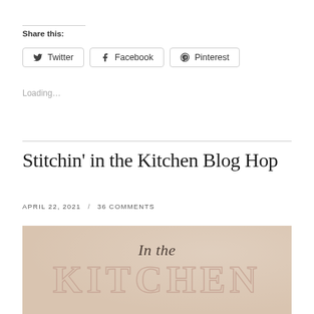Share this:
Twitter  Facebook  Pinterest
Loading…
Stitchin' in the Kitchen Blog Hop
APRIL 22, 2021 / 36 COMMENTS
[Figure (illustration): Blog post header image with text 'In the KITCHEN' on a warm beige/tan background with soft floral texture.]